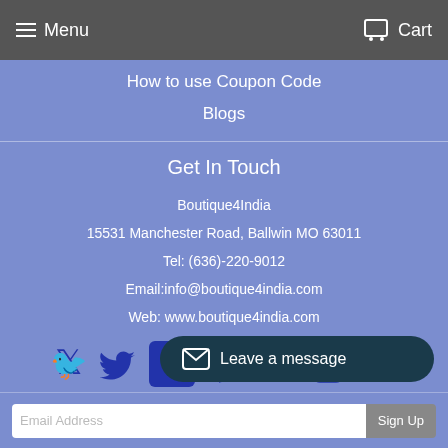Menu   Cart
How to use Coupon Code
Blogs
Get In Touch
Boutique4India
15531 Manchester Road, Ballwin MO 63011
Tel: (636)-220-9012
Email:info@boutique4india.com
Web: www.boutique4india.com
[Figure (infographic): Row of social media icons: Twitter, Facebook, Pinterest, Google+, Instagram, Tumblr, YouTube, and a second row with Vimeo and another icon]
Leave a message
Email Address   Sign Up